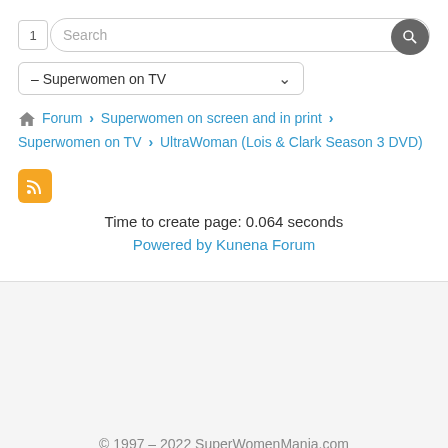[Figure (screenshot): Search box with number 1 input and search icon button]
[Figure (screenshot): Dropdown menu showing '- Superwomen on TV']
Forum > Superwomen on screen and in print > Superwomen on TV > UltraWoman (Lois & Clark Season 3 DVD)
[Figure (other): RSS feed orange icon]
Time to create page: 0.064 seconds
Powered by Kunena Forum
© 1997 – 2022 SuperWomenMania.com